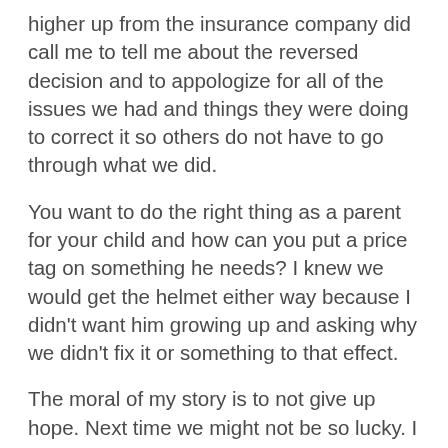higher up from the insurance company did call me to tell me about the reversed decision and to appologize for all of the issues we had and things they were doing to correct it so others do not have to go through what we did.
You want to do the right thing as a parent for your child and how can you put a price tag on something he needs? I knew we would get the helmet either way because I didn't want him growing up and asking why we didn't fix it or something to that effect.
The moral of my story is to not give up hope. Next time we might not be so lucky. I don't know why they changed their mind– maybe enough people heard about this situation becuase I went to my employer's HR department looking for someone else to contact, 7–10 phone calls to the insurance and many other people. At one point I had three different people all working on finding someone...